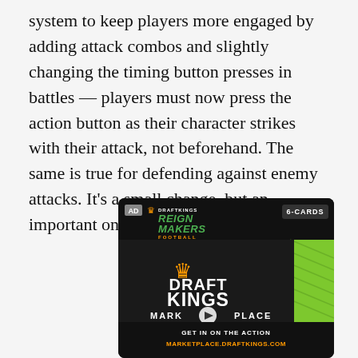system to keep players more engaged by adding attack combos and slightly changing the timing button presses in battles — players must now press the action button as their character strikes with their attack, not beforehand. The same is true for defending against enemy attacks. It's a small change, but an important one.
[Figure (other): DraftKings Reign Makers Football advertisement showing DraftKings Marketplace logo with play button and URL marketplace.draftkings.com. Top bar shows AD badge and 6-CARDS label.]